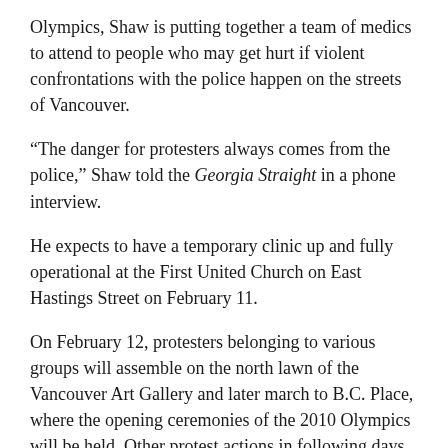Olympics, Shaw is putting together a team of medics to attend to people who may get hurt if violent confrontations with the police happen on the streets of Vancouver.
“The danger for protesters always comes from the police,” Shaw told the Georgia Straight in a phone interview.
He expects to have a temporary clinic up and fully operational at the First United Church on East Hastings Street on February 11.
On February 12, protesters belonging to various groups will assemble on the north lawn of the Vancouver Art Gallery and later march to B.C. Place, where the opening ceremonies of the 2010 Olympics will be held. Other protest actions in following days are being lined up.
With the risk of police deploying tear gas and pepper spray, Shaw offered a few tips to those joining anti-Olympic protests.
A bandanna soaked in apple cider, for example, may prove